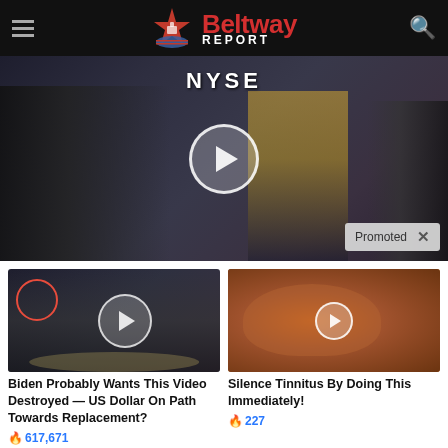Beltway REPORT
[Figure (screenshot): NYSE trading floor video thumbnail with two people visible and a play button overlay]
Promoted
[Figure (screenshot): Group of men in suits at CIA logo with red circle highlight and play button]
Biden Probably Wants This Video Destroyed — US Dollar On Path Towards Replacement?
617,671
[Figure (screenshot): Close-up of human ear with play button overlay]
Silence Tinnitus By Doing This Immediately!
227